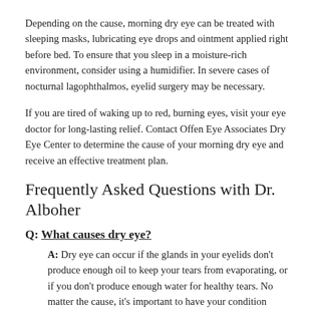Depending on the cause, morning dry eye can be treated with sleeping masks, lubricating eye drops and ointment applied right before bed. To ensure that you sleep in a moisture-rich environment, consider using a humidifier. In severe cases of nocturnal lagophthalmos, eyelid surgery may be necessary.
If you are tired of waking up to red, burning eyes, visit your eye doctor for long-lasting relief. Contact Offen Eye Associates Dry Eye Center to determine the cause of your morning dry eye and receive an effective treatment plan.
Frequently Asked Questions with Dr. Alboher
Q: What causes dry eye?
A: Dry eye can occur if the glands in your eyelids don't produce enough oil to keep your tears from evaporating, or if you don't produce enough water for healthy tears. No matter the cause, it's important to have your condition diagnosed and treated to protect your vision and ensure good eye health.